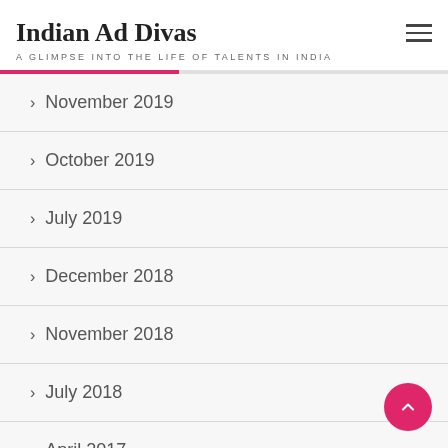Indian Ad Divas
A GLIMPSE INTO THE LIFE OF TALENTS IN INDIA
November 2019
October 2019
July 2019
December 2018
November 2018
July 2018
April 2017